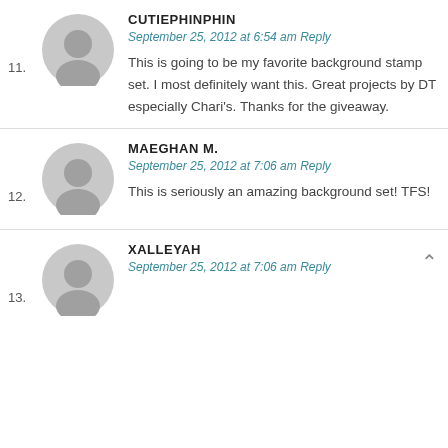11. CUTIEPHINPHIN
September 25, 2012 at 6:54 am Reply
This is going to be my favorite background stamp set. I most definitely want this. Great projects by DT especially Chari's. Thanks for the giveaway.
12. MAEGHAN M.
September 25, 2012 at 7:06 am Reply
This is seriously an amazing background set! TFS!
13. XALLEYAH
September 25, 2012 at 7:06 am Reply